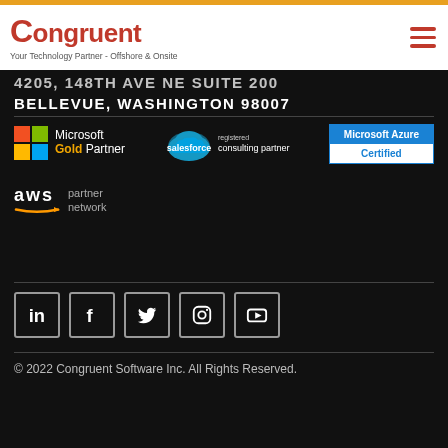Congruent - Your Technology Partner - Offshore & Onsite
4205, 148TH AVE NE SUITE 200
BELLEVUE, WASHINGTON 98007
[Figure (logo): Microsoft Gold Partner logo]
[Figure (logo): Salesforce registered consulting partner logo]
[Figure (logo): Microsoft Azure Certified badge]
[Figure (logo): AWS Partner Network logo]
[Figure (illustration): Social media icons: LinkedIn, Facebook, Twitter, Instagram, YouTube]
© 2022 Congruent Software Inc. All Rights Reserved.